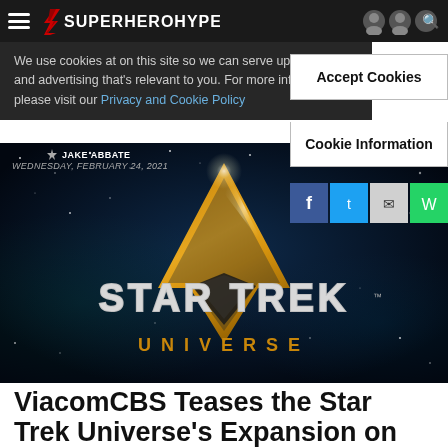SuperHeroHype
We use cookies at on this site so we can serve up content and advertising that's relevant to you. For more information, please visit our Privacy and Cookie Policy
Accept Cookies
Cookie Information
JAKE ABBATE
WEDNESDAY, FEBRUARY 24, 2021
[Figure (photo): Star Trek Universe logo on a dark space background with nebula and stars. Gold Starfleet delta insignia above stylized text reading STAR TREK in silver metallic letters and UNIVERSE in gold letters below.]
ViacomCBS Teases the Star Trek Universe's Expansion on